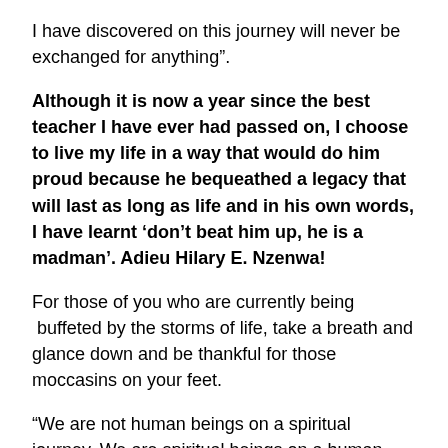I have discovered on this journey will never be exchanged for anything".
Although it is now a year since the best teacher I have ever had passed on, I choose to live my life in a way that would do him proud because he bequeathed a legacy that will last as long as life and in his own words, I have learnt ‘don’t beat him up, he is a madman’. Adieu Hilary E. Nzenwa!
For those of you who are currently being  buffeted by the storms of life, take a breath and glance down and be thankful for those moccasins on your feet.
“We are not human beings on a spiritual journey. We are spiritual beings on a human journey.” – Stephen R. Covey Remember that there is a purpose to everything that happens in life and...